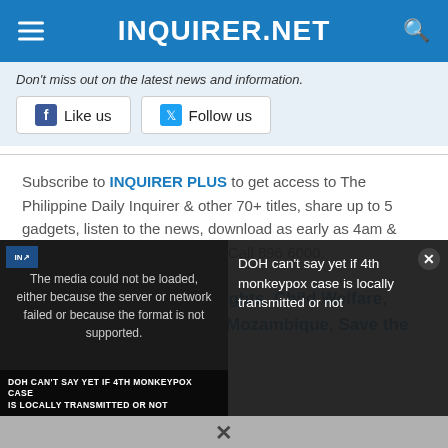INQUIRER.NET
Don't miss out on the latest news and information.
Like us   Follow us
Subscribe to INQUIRER PLUS to get access to The Philippine Daily Inquirer & other 70+ titles, share up to 5 gadgets, listen to the news, download as early as 4am & share articles on social media. Call 896 6000.
TAGS: beheading, child rights, Child Welfare, Children, Insurgency, IS, Mozambique, Save the
[Figure (screenshot): Video player overlay showing error message: 'The media could not be loaded, either because the server or network failed or because the format is not supported.' with caption 'DOH CAN'T SAY YET IF 4TH MONKEYPOX CASE IS LOCALLY TRANSMITTED OR NOT' and right-side text 'DOH can't say yet if 4th monkeypox case is locally transmitted or not']